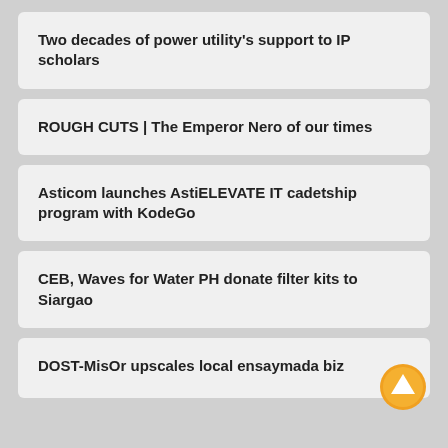Two decades of power utility's support to IP scholars
ROUGH CUTS | The Emperor Nero of our times
Asticom launches AstiELEVATE IT cadetship program with KodeGo
CEB, Waves for Water PH donate filter kits to Siargao
DOST-MisOr upscales local ensaymada biz